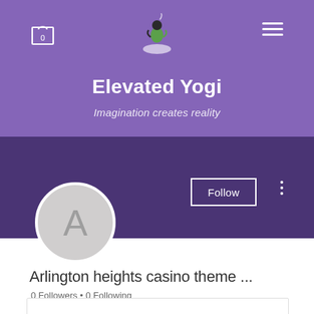[Figure (screenshot): Mobile website screenshot of Elevated Yogi profile page with purple header, logo, site title, tagline, avatar, follow button, display name, and followers info]
Elevated Yogi
Imagination creates reality
Arlington heights casino theme ...
0 Followers • 0 Following